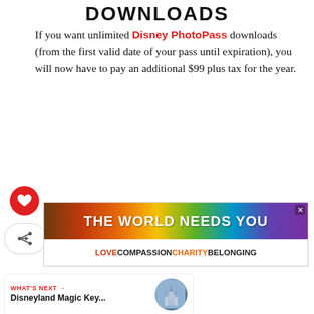DOWNLOADS
If you want unlimited Disney PhotoPass downloads (from the first valid date of your pass until expiration), you will now have to pay an additional $99 plus tax for the year.
[Figure (other): Advertisement banner: rainbow gradient background with bold white text 'THE WORLD NEEDS YOU' and subtitle 'LOVE COMPASSION CHARITY BELONGING']
WHAT'S NEXT → Disneyland Magic Key...